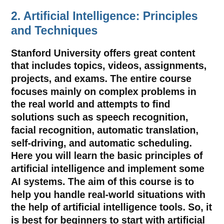2. Artificial Intelligence: Principles and Techniques
Stanford University offers great content that includes topics, videos, assignments, projects, and exams. The entire course focuses mainly on complex problems in the real world and attempts to find solutions such as speech recognition, facial recognition, automatic translation, self-driving, and automatic scheduling. Here you will learn the basic principles of artificial intelligence and implement some AI systems. The aim of this course is to help you handle real-world situations with the help of artificial intelligence tools. So, it is best for beginners to start with artificial intelligence.
3. Learn from ML experts at Google, AI